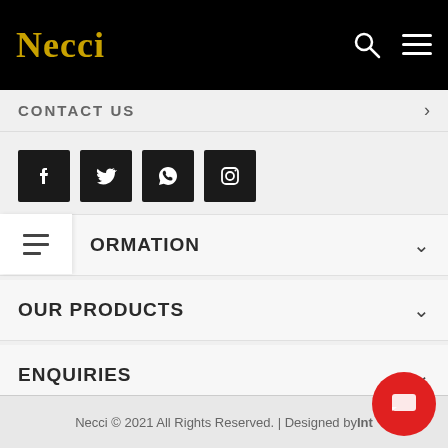Necci
CONTACT US
[Figure (other): Social media icons: Facebook, Twitter, WhatsApp, Instagram in black square buttons]
ORMATION
OUR PRODUCTS
ENQUIRIES
OUR LOCATION
Necci © 2021 All Rights Reserved. | Designed by Int